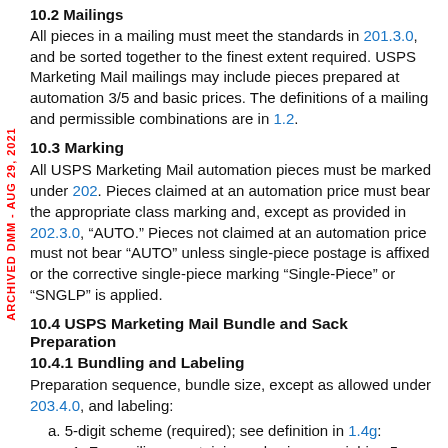10.2 Mailings
All pieces in a mailing must meet the standards in 201.3.0, and be sorted together to the finest extent required. USPS Marketing Mail mailings may include pieces prepared at automation 3/5 and basic prices. The definitions of a mailing and permissible combinations are in 1.2.
10.3 Marking
All USPS Marketing Mail automation pieces must be marked under 202. Pieces claimed at an automation price must bear the appropriate class marking and, except as provided in 202.3.0, “AUTO.” Pieces not claimed at an automation price must not bear “AUTO” unless single-piece postage is affixed or the corrective single-piece marking “Single-Piece” or “SNGLP” is applied.
10.4 USPS Marketing Mail Bundle and Sack Preparation
10.4.1 Bundling and Labeling
Preparation sequence, bundle size, except as allowed under 203.4.0, and labeling:
a. 5-digit scheme (required); see definition in 1.4g:
1. For mailings containing only pieces weighing 5 ounces (0.3125 pound) or less: 15-piece minimum; red Label 5 SCH or OEL.